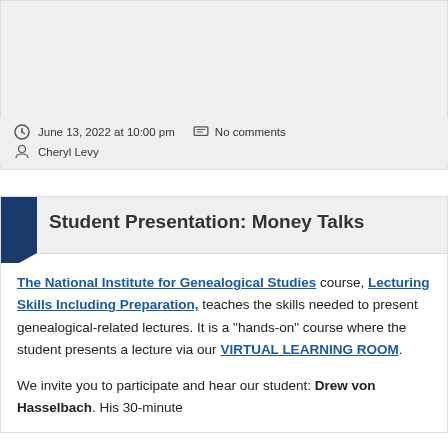June 13, 2022 at 10:00 pm   No comments
Cheryl Levy
Student Presentation: Money Talks
The National Institute for Genealogical Studies course, Lecturing Skills Including Preparation, teaches the skills needed to present genealogical-related lectures. It is a "hands-on" course where the student presents a lecture via our VIRTUAL LEARNING ROOM.
We invite you to participate and hear our student: Drew von Hasselbach. His 30-minute